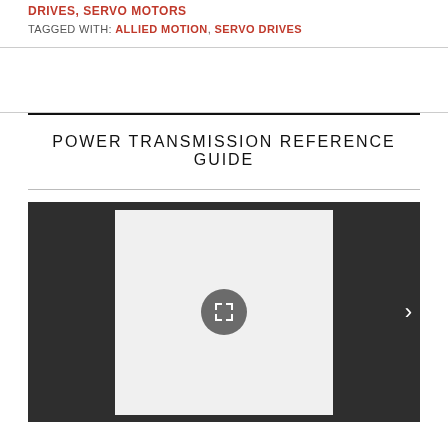DRIVES, SERVO MOTORS
TAGGED WITH: ALLIED MOTION, SERVO DRIVES
POWER TRANSMISSION REFERENCE GUIDE
[Figure (screenshot): Document viewer with a light gray page displayed inside a dark gray container, featuring a fullscreen/expand button (circular gray button with white bracket icon) in the center and a white right-arrow navigation chevron on the right side.]